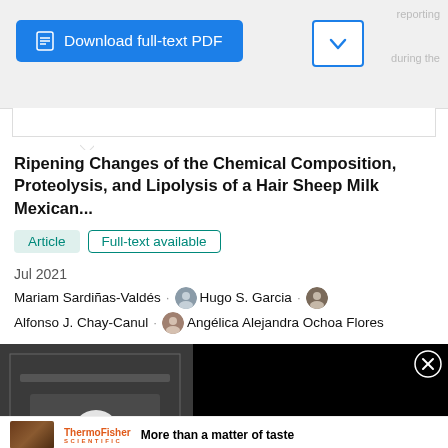[Figure (screenshot): Blue Download full-text PDF button with document icon, and a dropdown chevron button beside it on a light gray background]
Ripening Changes of the Chemical Composition, Proteolysis, and Lipolysis of a Hair Sheep Milk Mexican...
Article   Full-text available
Jul 2021
Mariam Sardiñas-Valdés · Hugo S. Garcia · Alfonso J. Chay-Canul · Angélica Alejandra Ochoa Flores
[Figure (screenshot): Video thumbnail showing lab equipment with overlay text 'LEARN HOW TO BEST INFLUENCE LAB EQUIPMENT PURCHASING BEHAVIOR' and a play button. Right side shows black background with white text: Learn how to best influence lab equipment purchasing behavior, and an X close button.]
[Figure (photo): Advertisement showing Thermo Fisher Scientific logo and food photograph with text 'More than a matter of taste']